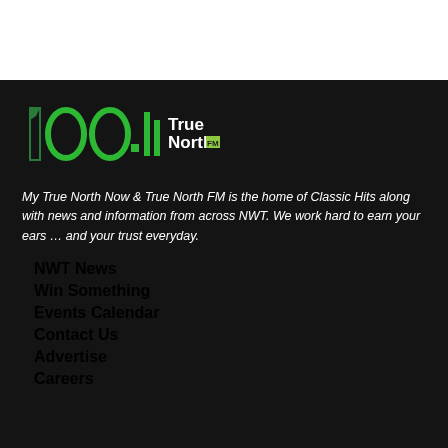[Figure (logo): 100 True North FM radio station logo with green stylized numbers and letters on dark background]
My True North Now & True North FM is the home of Classic Hits along with news and information from across NWT. We work hard to earn your ears … and your trust everyday.
NWT News
Win Something
Events Calendar
Contact Us
Advertise
Careers